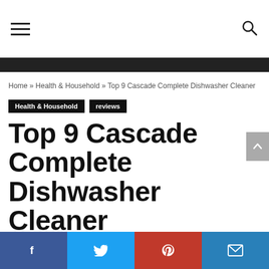Navigation bar with hamburger menu and search icon
Home » Health & Household » Top 9 Cascade Complete Dishwasher Cleaner
Health & Household   reviews
Top 9 Cascade Complete Dishwasher Cleaner
ficompsystems • July 20, 2020  4
Social share bar: Facebook, Twitter, Pinterest, Email